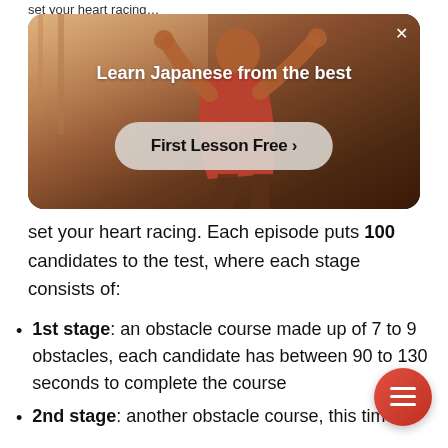set your heart racing. Each episode puts 100 candidates to the test, where each stage consists of:
[Figure (screenshot): Advertisement banner for Japanese language learning. Shows a person in a red outfit with arms raised against a warm-toned background. Text reads 'Learn Japanese from the best' with a button 'First Lesson Free >' and an X close button.]
1st stage: an obstacle course made up of 7 to 9 obstacles, each candidate has between 90 to 130 seconds to complete the course
2nd stage: another obstacle course, this time